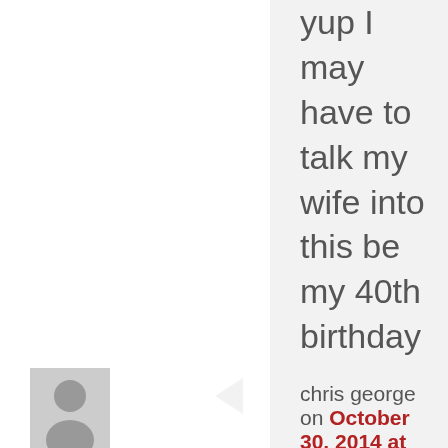yup I may have to talk my wife into this be my 40th birthday trip! Was jealous when Kent was guiding our years ago, and now a chance to have access to that knowledge and get to meet the infamous Louis Cahill too. This have to happen, time to pull in the strings, 3 kids will be working again financially, but I can cut them back a meal a day lol…
Reply ↓
[Figure (illustration): Default user avatar - grey silhouette of a person on grey background]
chris george on October 30, 2014 at 10:56 am said: